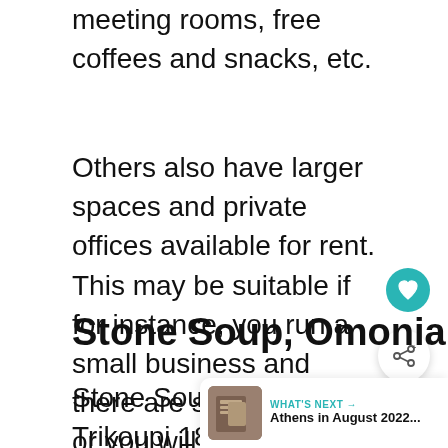meeting rooms, free coffees and snacks, etc.
Others also have larger spaces and private offices available for rent. This may be suitable if for instance, you run a small business and there are several of you or you will be hosting in-person meetings.
Stone Soup, Omonia
Stone Soup (Char. Trikoupi 18), one of the establishments at the forefront of the Athenean...